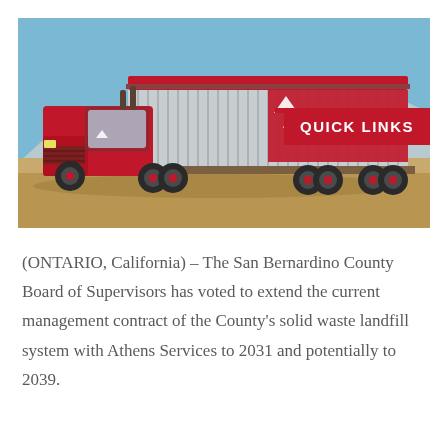[Figure (photo): A large red semi-truck with a long flatbed trailer carrying a corrugated metal container with the Athens Services logo. The truck is parked on dry, sandy terrain with mountains and blue sky in the background.]
(ONTARIO, California) – The San Bernardino County Board of Supervisors has voted to extend the current management contract of the County's solid waste landfill system with Athens Services to 2031 and potentially to 2039.